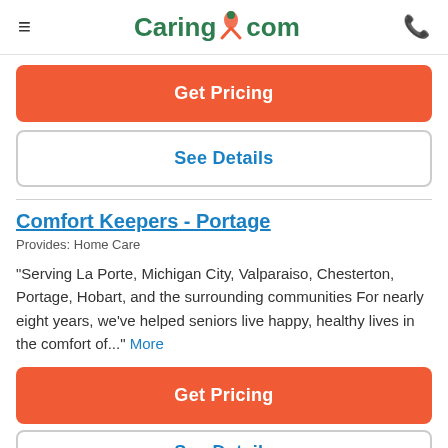Caring.com
Get Pricing
See Details
Comfort Keepers - Portage
Provides: Home Care
"Serving La Porte, Michigan City, Valparaiso, Chesterton, Portage, Hobart, and the surrounding communities For nearly eight years, we've helped seniors live happy, healthy lives in the comfort of..." More
Get Pricing
See Details